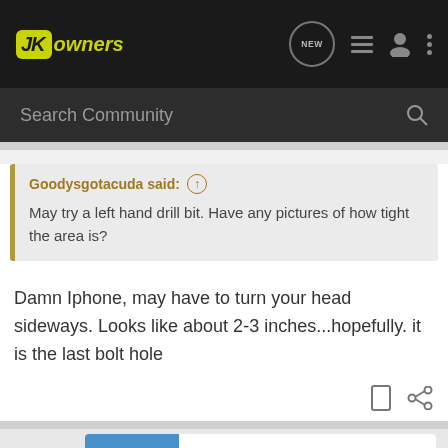JKowners - Search Community
Goodysgotacuda said: ↑ May try a left hand drill bit. Have any pictures of how tight the area is?
Damn Iphone, may have to turn your head sideways. Looks like about 2-3 inches...hopefully. it is the last bolt hole
1 - 5 of 5 | NEW HOMES FOR ACTIVE ADULTS | IT'S YOUR MOVE. | Preview Homes | CRESSWI PEACHTREE CITY 55+ Community